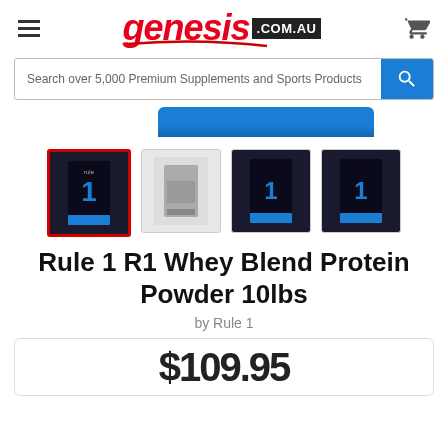genesis.com.au
Search over 5,000 Premium Supplements and Sports Products
[Figure (photo): Partial view of a blue product container top]
[Figure (photo): Four product thumbnail images of Rule 1 R1 Whey Blend Protein Powder 10lbs packets; first selected with red border]
Rule 1 R1 Whey Blend Protein Powder 10lbs
by Rule 1
$109.95